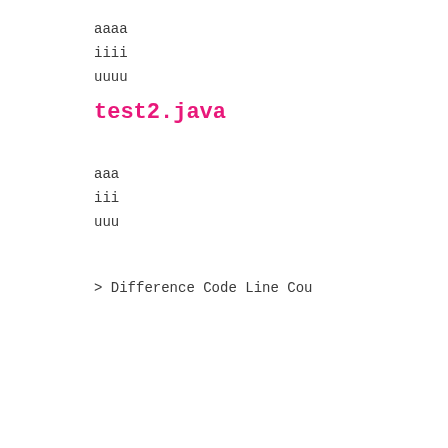aaaa
iiii
uuuu
test2.java
aaa
iii
uuu
> Difference Code Line Cou